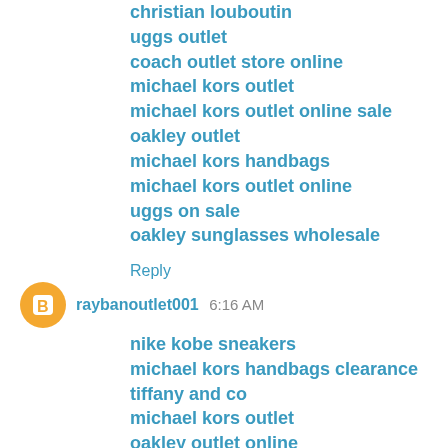christian louboutin
uggs outlet
coach outlet store online
michael kors outlet
michael kors outlet online sale
oakley outlet
michael kors handbags
michael kors outlet online
uggs on sale
oakley sunglasses wholesale
Reply
raybanoutlet001  6:16 AM
nike kobe sneakers
michael kors handbags clearance
tiffany and co
michael kors outlet
oakley outlet online
christian louboutin outlet
tiffany and co outlet
http://www.michaelkorsoutlet...